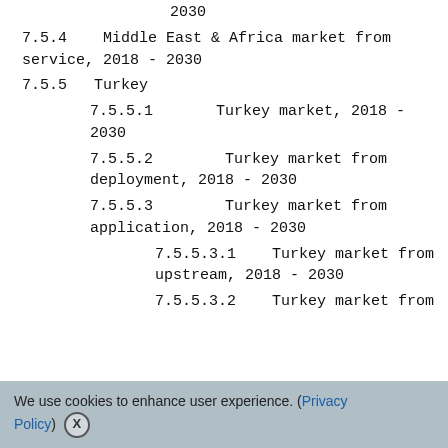2030
7.5.4    Middle East & Africa market from service, 2018 - 2030
7.5.5   Turkey
7.5.5.1       Turkey market, 2018 - 2030
7.5.5.2        Turkey market from deployment, 2018 - 2030
7.5.5.3        Turkey market from application, 2018 - 2030
7.5.5.3.1    Turkey market from upstream, 2018 - 2030
7.5.5.3.2    Turkey market from
We use cookies to enhance user experience. (Privacy Policy)  X